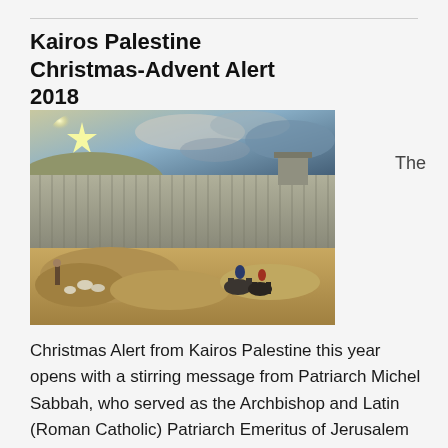Kairos Palestine Christmas-Advent Alert 2018
[Figure (illustration): Painting depicting the separation wall in Palestine with figures on horseback approaching it, set against a dramatic sky with a bright star at upper left. Shepherds visible on the left side.]
The
Christmas Alert from Kairos Palestine this year opens with a stirring message from Patriarch Michel Sabbah, who served as the Archbishop and Latin (Roman Catholic) Patriarch Emeritus of Jerusalem from 1987 to 2008. "Those who